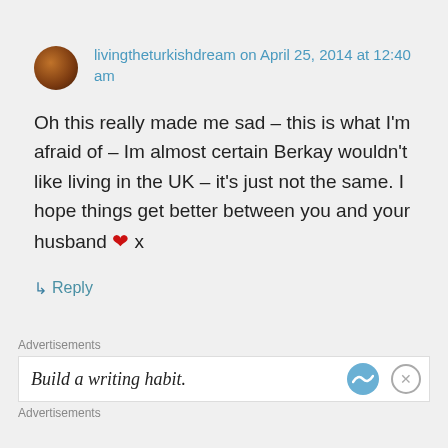livingtheturkishdream on April 25, 2014 at 12:40 am
Oh this really made me sad – this is what I'm afraid of – Im almost certain Berkay wouldn't like living in the UK – it's just not the same. I hope things get better between you and your husband ❤ x
↳ Reply
Advertisements
Build a writing habit.
Advertisements